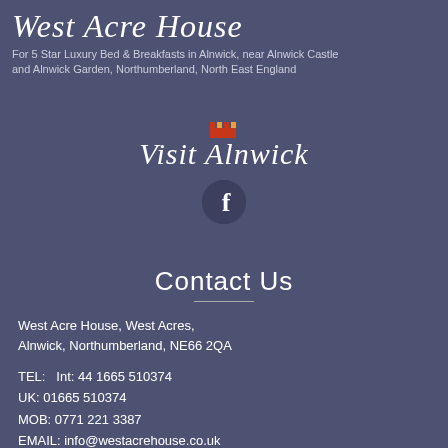West Acre House
For 5 Star Luxury Bed & Breakfasts in Alnwick, near Alnwick Castle and Alnwick Garden, Northumberland, North East England
[Figure (logo): Visit Alnwick logo with castle battlements icon]
[Figure (logo): Facebook icon in dark circle]
Contact Us
West Acre House, West Acres,
Alnwick, Northumberland, NE66 2QA
TEL:   Int: 44 1665 510374
UK: 01665 510374
MOB: 0771 221 3387
EMAIL: info@westacrehouse.co.uk